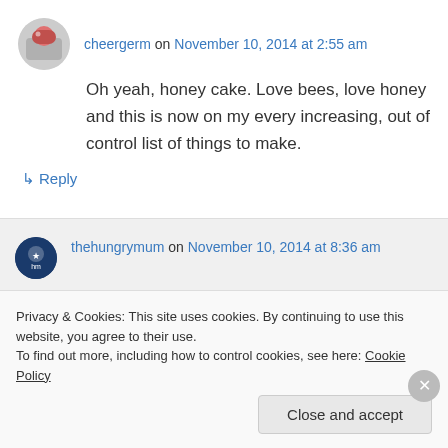cheergerm on November 10, 2014 at 2:55 am
Oh yeah, honey cake. Love bees, love honey and this is now on my every increasing, out of control list of things to make.
↳ Reply
thehungrymum on November 10, 2014 at 8:36 am
Privacy & Cookies: This site uses cookies. By continuing to use this website, you agree to their use.
To find out more, including how to control cookies, see here: Cookie Policy
Close and accept